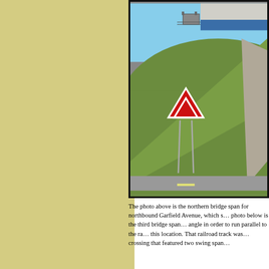[Figure (photo): Photograph of a highway overpass/bridge embankment with a green grassy slope, a red yield sign on metal posts, a concrete bridge structure with blue beam visible at top right, a road at the bottom, and a clear blue sky in background.]
The photo above is the northern bridge span for northbound Garfield Avenue, which s... photo below is the third bridge span... angle in order to run parallel to the ra... this location. That railroad track was... crossing that featured two swing span...